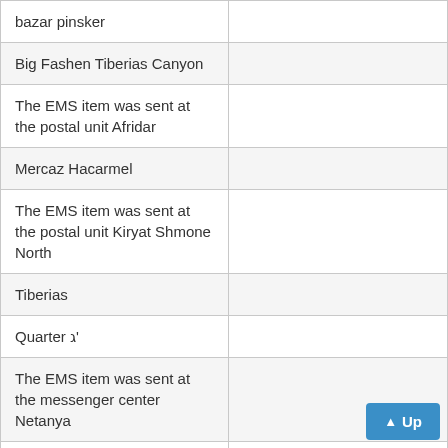|  |  |
| --- | --- |
| bazar pinsker |  |
| Big Fashen Tiberias Canyon |  |
| The EMS item was sent at the postal unit Afridar |  |
| Mercaz Hacarmel |  |
| The EMS item was sent at the postal unit Kiryat Shmone North |  |
| Tiberias |  |
| Quarter ג' |  |
| The EMS item was sent at the messenger center Netanya |  |
| Hanevi'im |  |